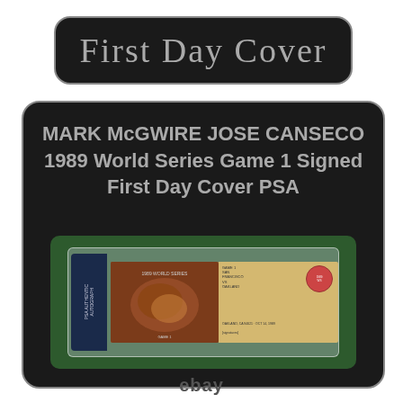First Day Cover
MARK McGWIRE JOSE CANSECO 1989 World Series Game 1 Signed First Day Cover PSA
[Figure (photo): PSA-graded slab containing the 1989 World Series Game 1 First Day Cover signed by Mark McGwire and Jose Canseco, displayed on a green grass-textured background]
ebay